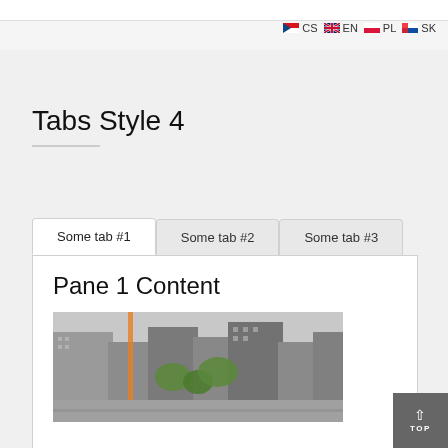CS  EN  PL  SK
Tabs Style 4
Some tab #1  Some tab #2  Some tab #3
Pane 1 Content
[Figure (photo): Aerial view of a city with tall buildings, roads, and green trees]